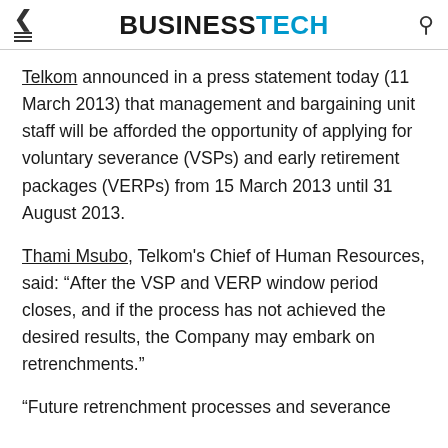BUSINESSTECH
Telkom announced in a press statement today (11 March 2013) that management and bargaining unit staff will be afforded the opportunity of applying for voluntary severance (VSPs) and early retirement packages (VERPs) from 15 March 2013 until 31 August 2013.
Thami Msubo, Telkom's Chief of Human Resources, said: “After the VSP and VERP window period closes, and if the process has not achieved the desired results, the Company may embark on retrenchments.”
“Future retrenchment processes and severance